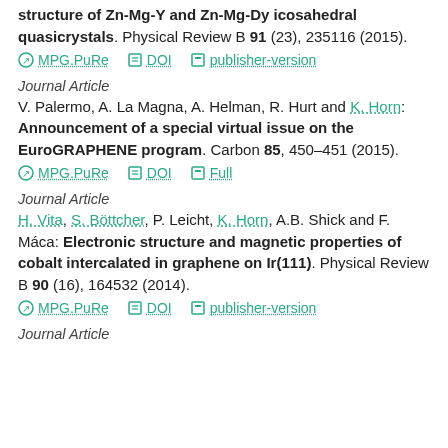structure of Zn-Mg-Y and Zn-Mg-Dy icosahedral quasicrystals. Physical Review B 91 (23), 235116 (2015).
MPG.PuRe   DOI   publisher-version
Journal Article
V. Palermo, A. La Magna, A. Helman, R. Hurt and K. Horn: Announcement of a special virtual issue on the EuroGRAPHENE program. Carbon 85, 450–451 (2015).
MPG.PuRe   DOI   Full
Journal Article
H. Vita, S. Böttcher, P. Leicht, K. Horn, A.B. Shick and F. Máca: Electronic structure and magnetic properties of cobalt intercalated in graphene on Ir(111). Physical Review B 90 (16), 164532 (2014).
MPG.PuRe   DOI   publisher-version
Journal Article